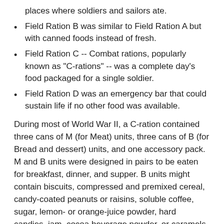places where soldiers and sailors ate.
Field Ration B was similar to Field Ration A but with canned foods instead of fresh.
Field Ration C -- Combat rations, popularly known as "C-rations" -- was a complete day's food packaged for a single soldier.
Field Ration D was an emergency bar that could sustain life if no other food was available.
During most of World War II, a C-ration contained three cans of M (for Meat) units, three cans of B (for Bread and dessert) units, and one accessory pack. M and B units were designed in pairs to be eaten for breakfast, dinner, and supper. B units might contain biscuits, compressed and premixed cereal, candy-coated peanuts or raisins, soluble coffee, sugar, lemon- or orange-juice powder, hard candies, jam, cocoa beverage powder, or caramels. The accessory packet included nine cigarettes, water-purification tablets, salt tablets (to prevent heat exhaustion), matches, toilet paper, chewing gum, and an opener for the meat cans. Options for canned meats included meat and beans; meat-and-vegetable